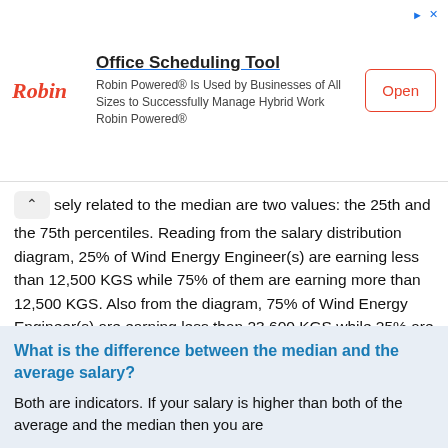[Figure (other): Advertisement banner for Robin Office Scheduling Tool with logo, description text, and Open button]
sely related to the median are two values: the 25th and the 75th percentiles. Reading from the salary distribution diagram, 25% of Wind Energy Engineer(s) are earning less than 12,500 KGS while 75% of them are earning more than 12,500 KGS. Also from the diagram, 75% of Wind Energy Engineer(s) are earning less than 23,600 KGS while 25% are earning more than 23,600 KGS.
What is the difference between the median and the average salary?
Both are indicators. If your salary is higher than both of the average and the median then you are